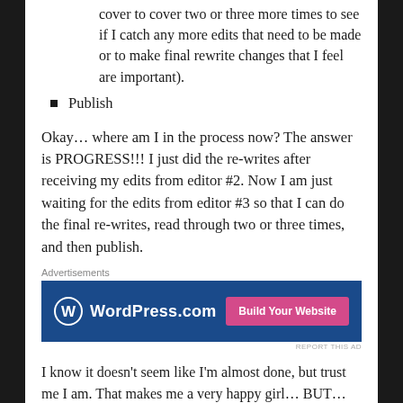cover to cover two or three more times to see if I catch any more edits that need to be made or to make final rewrite changes that I feel are important).
Publish
Okay… where am I in the process now? The answer is PROGRESS!!! I just did the re-writes after receiving my edits from editor #2. Now I am just waiting for the edits from editor #3 so that I can do the final re-writes, read through two or three times, and then publish.
[Figure (other): WordPress.com advertisement banner with dark blue background, WordPress logo on left, and pink 'Build Your Website' button on right]
I know it doesn't seem like I'm almost done, but trust me I am. That makes me a very happy girl… BUT…